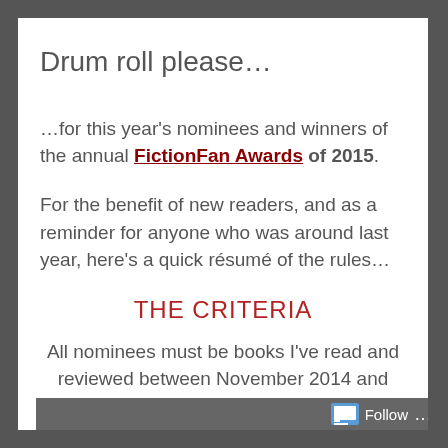Drum roll please…
…for this year's nominees and winners of the annual FictionFan Awards of 2015.
For the benefit of new readers, and as a reminder for anyone who was around last year, here's a quick résumé of the rules…
THE CRITERIA
All nominees must be books I've read and reviewed between November 2014 and October 2015 regardless of publication date, but excluding re-
Follow …